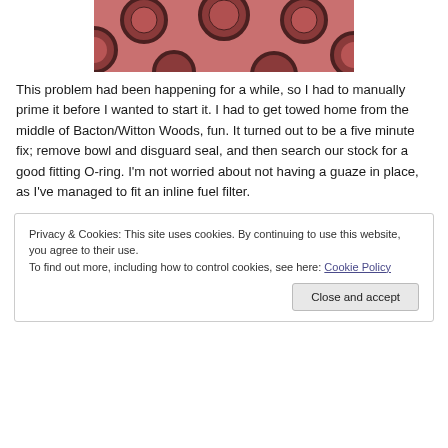[Figure (photo): Close-up photo of round circular holes/rings on a pinkish-red surface, partially visible at top of page]
This problem had been happening for a while, so I had to manually prime it before I wanted to start it. I had to get towed home from the middle of Bacton/Witton Woods, fun. It turned out to be a five minute fix; remove bowl and disguard seal, and then search our stock for a good fitting O-ring. I'm not worried about not having a guaze in place, as I've managed to fit an inline fuel filter.
Privacy & Cookies: This site uses cookies. By continuing to use this website, you agree to their use. To find out more, including how to control cookies, see here: Cookie Policy